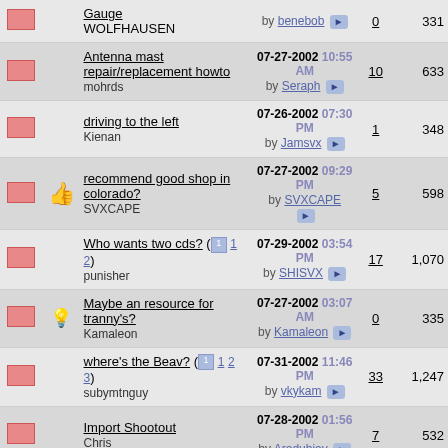|  |  | Topic | Last Post | Replies | Views |
| --- | --- | --- | --- | --- | --- |
| [envelope] |  | Gauge WOLFHAUSEN | by benebob | 0 | 331 |
| [envelope] |  | Antenna mast repair/replacement howto
mohrds | 07-27-2002 10:55 AM by Seraph | 10 | 633 |
| [envelope] |  | driving to the left
Kienan | 07-26-2002 07:30 PM by Jamsvx | 1 | 348 |
| [envelope] | [thumb] | recommend good shop in colorado?
SVXCAPE | 07-27-2002 09:29 PM by SVXCAPE | 5 | 598 |
| [envelope] |  | Who wants two cds? (1 2)
punisher | 07-29-2002 03:54 PM by SHISVX | 17 | 1,070 |
| [envelope] | [bulb] | Maybe an resource for tranny's?
Kamaleon | 07-27-2002 03:07 AM by Kamaleon | 0 | 335 |
| [envelope] |  | where's the Beav? (1 2 3)
subymtnguy | 07-31-2002 11:46 PM by vkykam | 33 | 1,247 |
| [envelope] |  | Import Shootout
Chris | 07-28-2002 01:56 PM by Aredubjay | 7 | 532 |
| [envelope] |  | Guess what's in my driveway.......
PAGE | 07-29-2002 12:49 PM by MNYPNNY | 8 | 438 |